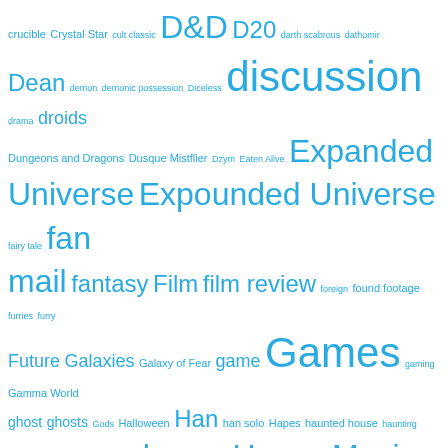[Figure (infographic): A tag cloud / word cloud featuring various RPG, horror, sci-fi, and pop-culture related tags in different sizes rendered in cyan/teal color on white background. Larger words appear more frequently. Tags include: crucible, Crystal Star, cult classic, D&D, D20, darth scabrous, dathomir, Dean, demon, demonic possession, Diceless, discussion, drama, droids, Dungeons and Dragons, Dusque Mistflier, Dzym, Eaten Alive, Expanded Universe, Expounded Universe, fairy tale, fan mail, fantasy, Film, film review, foreign, found footage, furries, furry, Future, Galaxies, Galaxy of Fear, game, Games, gaming, Gamma World, ghost, ghosts, Gods, Halloween, Han, han solo, Hapes, haunted house, haunting, Heartbreaker, hestizo, holiday, horror, Horror Movie, Horror RPG, Horrortoberfest, horrotoberfest, I, Jedi, infection, internet, Isolder, James D'Amato, Jedi Search, L. Neil Smith, Lando Calrissian, LARP, Leia, licensed games, listener mail, Live Action Roleplaying, Lockdown, low budget, Luke, magic, marvel, Maul, meta, Mindharp of Sharu, MMO, monster, Movie Mastery, movie review, musical, mystery, Netflix, New Age, New Jedi Order, Nightcrawler, OGL, old republic, Palladium, Palladium Games, Picard, Planet of Twilight, podcast, possession, post-apocalypse, post apocalypse, Prequel Era, Prison, racism, really bad, red harvest, remake, revenge, review, Rifts, Role-playing game, Roleplaying, rpg, RPG Review, Sam, Santa]